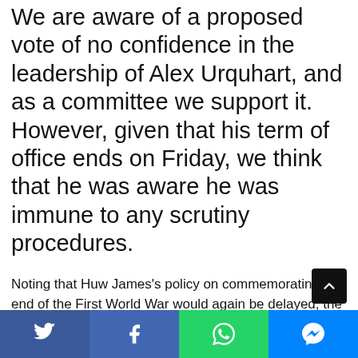We are aware of a proposed vote of no confidence in the leadership of Alex Urquhart, and as a committee we support it. However, given that his term of office ends on Friday, we think that he was aware he was immune to any scrutiny procedures.
Noting that Huw James's policy on commemorating the end of the First World War would again be delayed, the York Tories urged the next President of YUSU to make preparations for honouring the next anniversary of the end of the war.
A further public statement from the campus Liberal